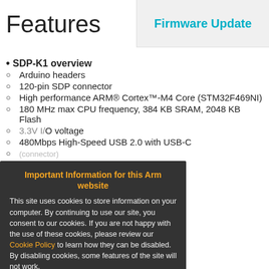Firmware Update
Features
SDP-K1 overview
Arduino headers
120-pin SDP connector
High performance ARM® Cortex™-M4 Core (STM32F469NI)
180 MHz max CPU frequency, 384 KB SRAM, 2048 KB Flash
3.3V I/O voltage (partial, behind overlay)
480Mbps High-Speed USB 2.0 with USB-C (partial)
2.5MHz at 1.8V (partial)
12-bit ADC (partial)
16MB SDRAM (partial)
Important Information for this Arm website
This site uses cookies to store information on your computer. By continuing to use our site, you consent to our cookies. If you are not happy with the use of these cookies, please review our Cookie Policy to learn how they can be disabled. By disabling cookies, some features of the site will not work.
Accept and hide this message